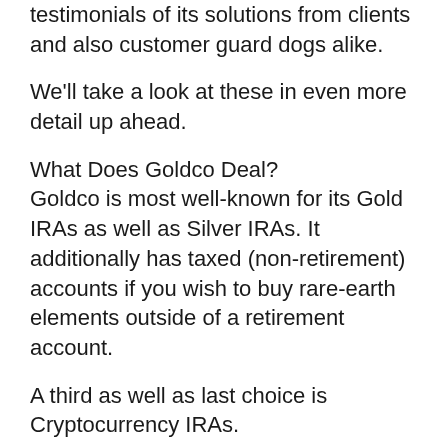testimonials of its solutions from clients and also customer guard dogs alike.
We'll take a look at these in even more detail up ahead.
What Does Goldco Deal?
Goldco is most well-known for its Gold IRAs as well as Silver IRAs. It additionally has taxed (non-retirement) accounts if you wish to buy rare-earth elements outside of a retirement account.
A third as well as last choice is Cryptocurrency IRAs.
Goldco rare-earth elements accounts include several storage space solutions, client